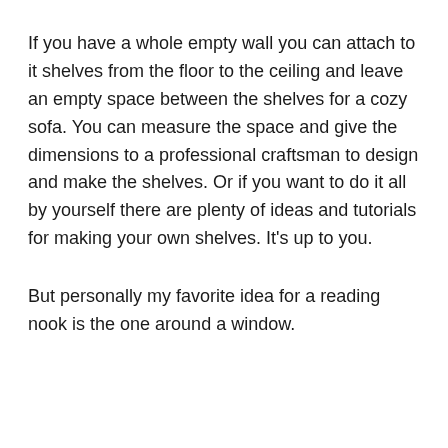If you have a whole empty wall you can attach to it shelves from the floor to the ceiling and leave an empty space between the shelves for a cozy sofa. You can measure the space and give the dimensions to a professional craftsman to design and make the shelves. Or if you want to do it all by yourself there are plenty of ideas and tutorials for making your own shelves. It’s up to you.
But personally my favorite idea for a reading nook is the one around a window.